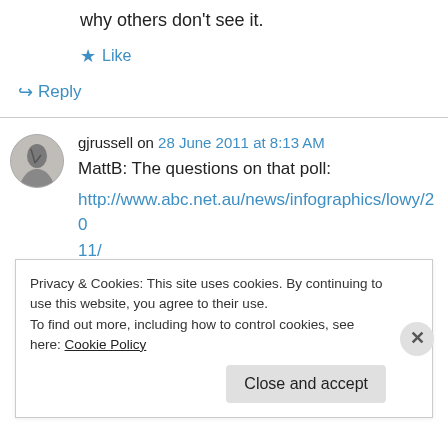why others don't see it.
★ Like
↪ Reply
gjrussell on 28 June 2011 at 8:13 AM
MattB: The questions on that poll:
http://www.abc.net.au/news/infographics/lowy/2011/
Privacy & Cookies: This site uses cookies. By continuing to use this website, you agree to their use. To find out more, including how to control cookies, see here: Cookie Policy
Close and accept